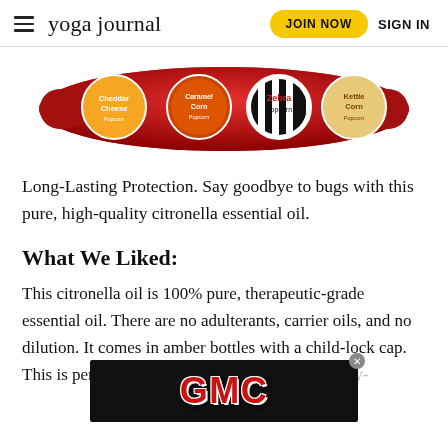yoga journal | JOIN NOW | SIGN IN
[Figure (photo): A red multi-pack bag of popcorn featuring Cheddar Cheese, Caramel Corn, Zebra Popcorn, and Kettle Corn varieties]
Long-Lasting Protection. Say goodbye to bugs with this pure, high-quality citronella essential oil.
What We Liked:
This citronella oil is 100% pure, therapeutic-grade essential oil. There are no adulterants, carrier oils, and no dilution. It comes in amber bottles with a child-lock cap. This is perfect for mixing c[...] easier to keep aw[...] ey-
[Figure (logo): GMC logo advertisement banner on black background]